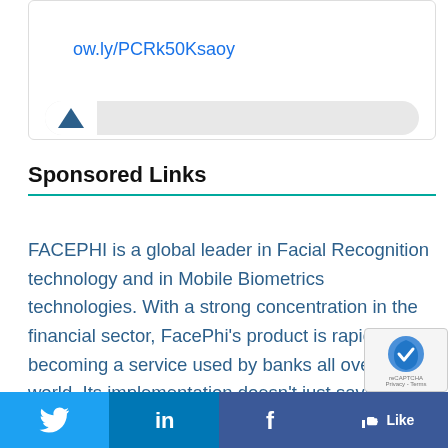[Figure (screenshot): Partial view of a social media post card showing a shortened URL link 'ow.ly/PCRk50Ksaoy' in blue and a partial image with a blue triangle/diamond icon below.]
Sponsored Links
FACEPHI is a global leader in Facial Recognition technology and in Mobile Biometrics technologies. With a strong concentration in the financial sector, FacePhi's product is rapidly becoming a service used by banks all over the world. Its implementation doesn't just save money, it is also a way to attract clients and build loyalty while increasing the security of transactions for bo
[Figure (infographic): Social media sharing bar at bottom with Twitter, LinkedIn, Facebook share buttons and a Like button. Also a reCAPTCHA badge overlay in bottom right corner.]